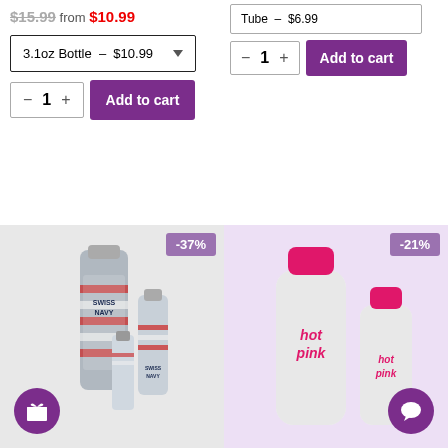$15.99 from $10.99
3.1oz Bottle – $10.99
- 1 + Add to cart
Tube – $6.99
- 1 + Add to cart
[Figure (photo): Swiss Navy peppermint lubricant bottles, two sizes, with -37% badge and gift icon]
[Figure (photo): Hot Pink lubricant bottles, two sizes, with -21% badge and chat icon]